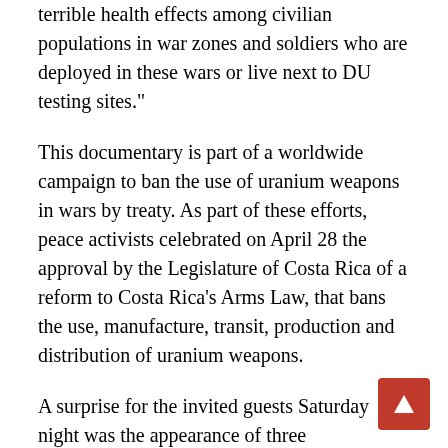terrible health effects among civilian populations in war zones and soldiers who are deployed in these wars or live next to DU testing sites."
This documentary is part of a worldwide campaign to ban the use of uranium weapons in wars by treaty. As part of these efforts, peace activists celebrated on April 28 the approval by the Legislature of Costa Rica of a reform to Costa Rica's Arms Law, that bans the use, manufacture, transit, production and distribution of uranium weapons.
A surprise for the invited guests Saturday night was the appearance of three representatives of the indigenous peoples of Brazil who gave a musical performance and offered a prayer to the Uranium Film Festival and its guests.
Chief Alfonso Apurina from the Amazon state of Acre and his two companions from other indigenous peoples were invited by the festival organizers in respect of their traditional land rights in Brazil and also in respect of their struggle to preserve the Old Indigenous Museum of Rio de Janeiro.